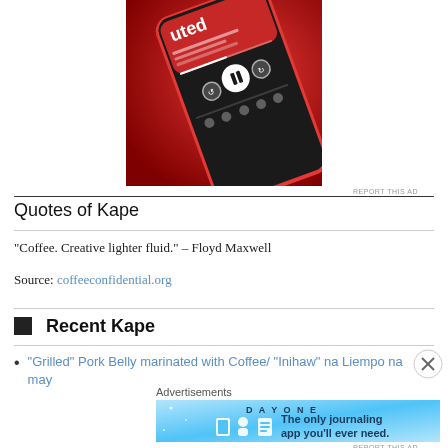[Figure (photo): Smartphone with red case on a red background, showing a music/podcast app interface with pause button, displayed at an angle from top-down view.]
REPORT THIS AD
Quotes of Kape
“Coffee. Creative lighter fluid.” – Floyd Maxwell
Source: coffeeconfidential.org
Recent Kape
“Grilled” Pork Belly marinated with Coffee/ “Inihaw” na Liempo na may
Advertisements
[Figure (screenshot): Day One journaling app advertisement banner: 'The only journaling app you'll ever need.' with illustrated icons.]